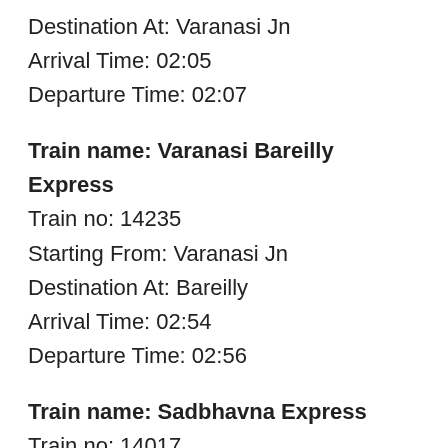Destination At: Varanasi Jn
Arrival Time: 02:05
Departure Time: 02:07
Train name: Varanasi Bareilly Express
Train no: 14235
Starting From: Varanasi Jn
Destination At: Bareilly
Arrival Time: 02:54
Departure Time: 02:56
Train name: Sadbhavna Express
Train no: 14017
Starting From: Muzaffarpur Jn
Destination At: Delhi
Arrival Time: 15:27
Departure Time: 15:28